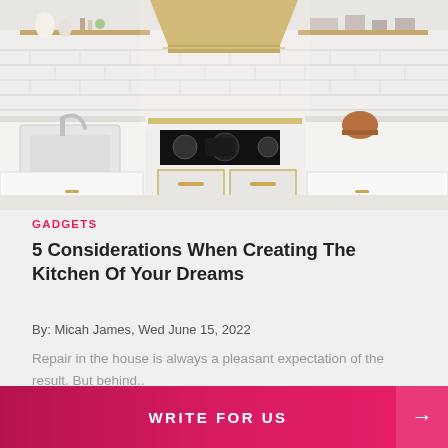[Figure (photo): Bright white luxury kitchen with gold/brass accents, white subway tile backsplash, professional range with brass fixtures, open shelving with decorative items, farmhouse sink, gold hardware on white cabinets]
GADGETS
5 Considerations When Creating The Kitchen Of Your Dreams
By: Micah James, Wed June 15, 2022
Repair in the house is always a pleasant expectation of the result. But behind..
WRITE FOR US →